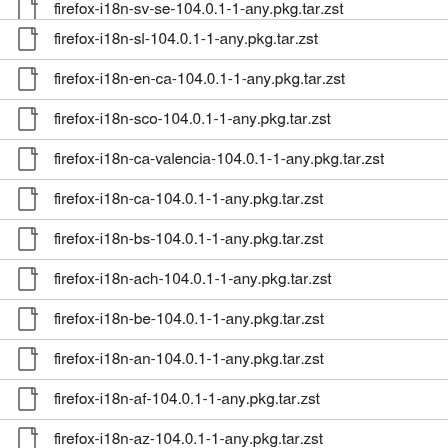firefox-i18n-sv-se-104.0.1-1-any.pkg.tar.zst
firefox-i18n-sl-104.0.1-1-any.pkg.tar.zst
firefox-i18n-en-ca-104.0.1-1-any.pkg.tar.zst
firefox-i18n-sco-104.0.1-1-any.pkg.tar.zst
firefox-i18n-ca-valencia-104.0.1-1-any.pkg.tar.zst
firefox-i18n-ca-104.0.1-1-any.pkg.tar.zst
firefox-i18n-bs-104.0.1-1-any.pkg.tar.zst
firefox-i18n-ach-104.0.1-1-any.pkg.tar.zst
firefox-i18n-be-104.0.1-1-any.pkg.tar.zst
firefox-i18n-an-104.0.1-1-any.pkg.tar.zst
firefox-i18n-af-104.0.1-1-any.pkg.tar.zst
firefox-i18n-az-104.0.1-1-any.pkg.tar.zst
firefox-i18n-ast-104.0.1-1-any.pkg.tar.zst
firefox-i18n-bg-104.0.1-1-any.pkg.tar.zst